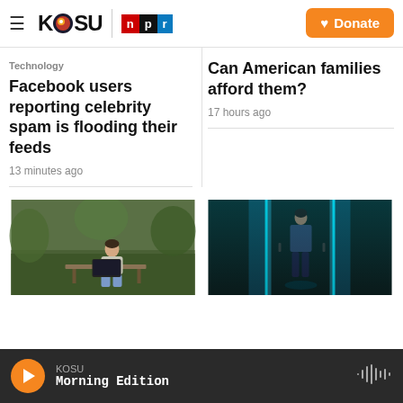KOSU | NPR — Donate
Technology
Facebook users reporting celebrity spam is flooding their feeds
13 minutes ago
Can American families afford them?
17 hours ago
[Figure (photo): A person sitting on a bench outdoors in a grassy/natural setting, working on a laptop]
[Figure (photo): A person standing in a dark room with glowing blue server racks or technology panels]
KOSU Morning Edition